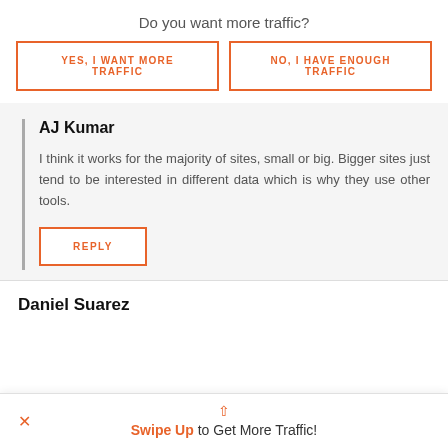Do you want more traffic?
YES, I WANT MORE TRAFFIC
NO, I HAVE ENOUGH TRAFFIC
AJ Kumar
I think it works for the majority of sites, small or big. Bigger sites just tend to be interested in different data which is why they use other tools.
REPLY
Daniel Suarez
Swipe Up to Get More Traffic!